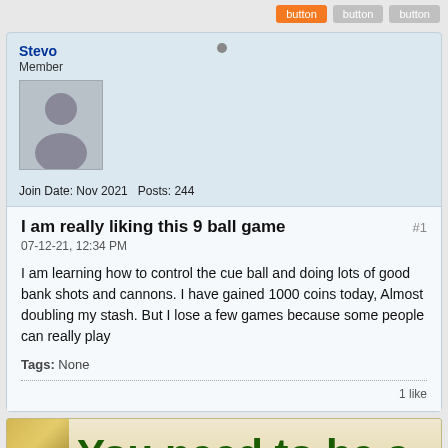Stevo
Member
Join Date: Nov 2021  Posts: 244
I am really liking this 9 ball game
07-12-21, 12:34 PM
I am learning how to control the cue ball and doing lots of good bank shots and cannons. I have gained 1000 coins today, Almost doubling my stash. But I lose a few games because some people can really play
Tags: None
1 like
You need to be a